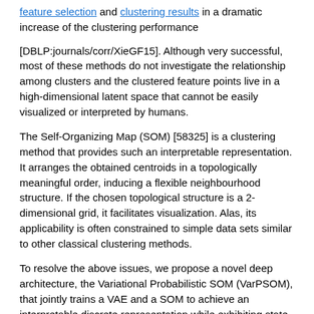feature selection and clustering results in a dramatic increase of the clustering performance
[DBLP:journals/corr/XieGF15]. Although very successful, most of these methods do not investigate the relationship among clusters and the clustered feature points live in a high-dimensional latent space that cannot be easily visualized or interpreted by humans.
The Self-Organizing Map (SOM) [58325] is a clustering method that provides such an interpretable representation. It arranges the obtained centroids in a topologically meaningful order, inducing a flexible neighbourhood structure. If the chosen topological structure is a 2-dimensional grid, it facilitates visualization. Alas, its applicability is often constrained to simple data sets similar to other classical clustering methods.
To resolve the above issues, we propose a novel deep architecture, the Variational Probabilistic SOM (VarPSOM), that jointly trains a VAE and a SOM to achieve an interpretable discrete representation while exhibiting state-of-the-art clustering performance. Instead of hard assignment of data points to clusters, our model uses a centroid-based probability distribution. It minimizes its